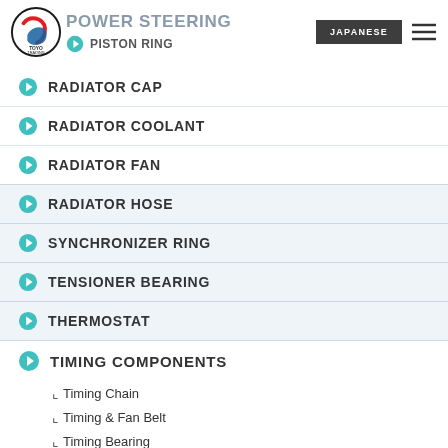POWER STEERING
PISTON RING
RADIATOR CAP
RADIATOR COOLANT
RADIATOR FAN
RADIATOR HOSE
SYNCHRONIZER RING
TENSIONER BEARING
THERMOSTAT
TIMING COMPONENTS
Timing Chain
Timing & Fan Belt
Timing Bearing
Tensioner & Sprocket